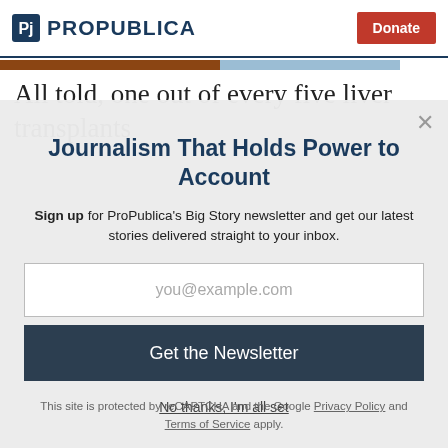ProPublica | Donate
All told, one out of every five liver transplants
Journalism That Holds Power to Account
Sign up for ProPublica's Big Story newsletter and get our latest stories delivered straight to your inbox.
you@example.com
Get the Newsletter
No thanks, I'm all set
This site is protected by reCAPTCHA and the Google Privacy Policy and Terms of Service apply.